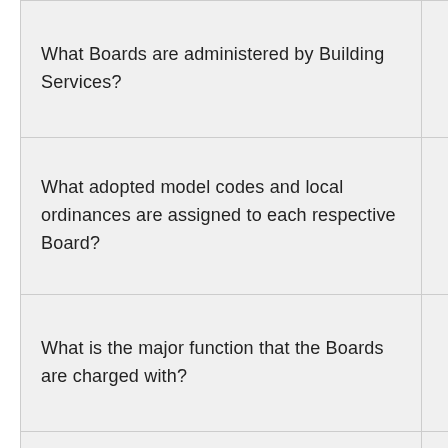| Question | Toggle |
| --- | --- |
| What Boards are administered by Building Services? | v |
| What adopted model codes and local ordinances are assigned to each respective Board? | v |
| What is the major function that the Boards are charged with? | v |
| Are the Boards allowed to waive code requirements? | v |
| Do the Boards have the authority [to review administrative decisions?] | v |